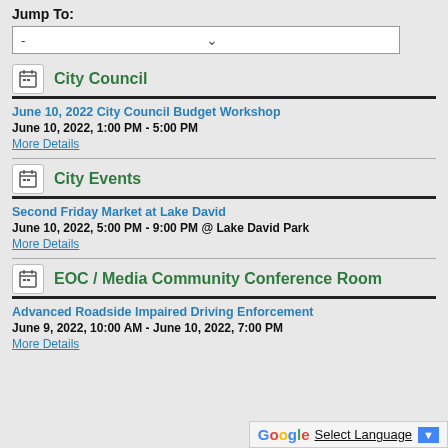Jump To:
-
City Council
June 10, 2022 City Council Budget Workshop
June 10, 2022, 1:00 PM - 5:00 PM
More Details
City Events
Second Friday Market at Lake David
June 10, 2022, 5:00 PM - 9:00 PM  @ Lake David Park
More Details
EOC / Media Community Conference Room
Advanced Roadside Impaired Driving Enforcement
June 9, 2022, 10:00 AM - June 10, 2022, 7:00 PM
More Details
Google Select Language